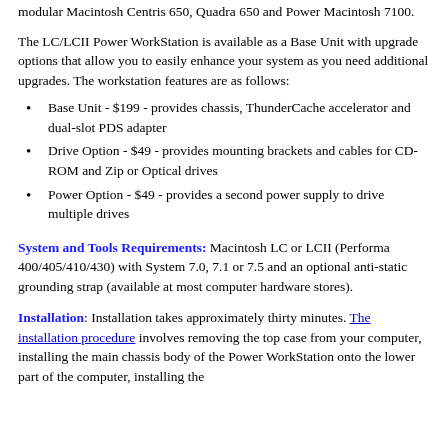Macintosh system unit fits in all of the late High-annual to the modular Macintosh Centris 650, Quadra 650 and Power Macintosh 7100.
The LC/LCII Power WorkStation is available as a Base Unit with upgrade options that allow you to easily enhance your system as you need additional upgrades. The workstation features are as follows:
Base Unit - $199 - provides chassis, ThunderCache accelerator and dual-slot PDS adapter
Drive Option - $49 - provides mounting brackets and cables for CD-ROM and Zip or Optical drives
Power Option - $49 - provides a second power supply to drive multiple drives
System and Tools Requirements: Macintosh LC or LCII (Performa 400/405/410/430) with System 7.0, 7.1 or 7.5 and an optional anti-static grounding strap (available at most computer hardware stores).
Installation: Installation takes approximately thirty minutes. The installation procedure involves removing the top case from your computer, installing the main chassis body of the Power WorkStation onto the lower part of the computer, installing the